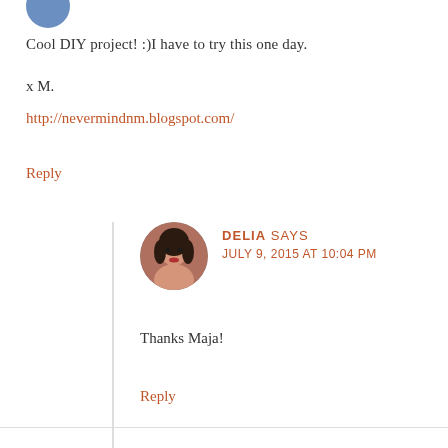[Figure (photo): Partial avatar image at top left, circular cropped photo]
Cool DIY project! :)I have to try this one day.
x M.
http://nevermindnm.blogspot.com/
Reply
[Figure (photo): Circular avatar photo of Delia, a woman with dark hair]
DELIA SAYS
JULY 9, 2015 AT 10:04 PM
Thanks Maja!
Reply